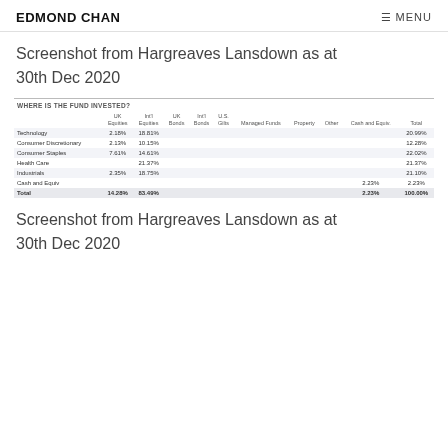EDMOND CHAN   ≡ MENU
Screenshot from Hargreaves Lansdown as at 30th Dec 2020
|  | UK Equities | Int'l Equities | UK Bonds | Int'l Bonds | U.S. Gilts | Managed Funds | Property | Other | Cash and Equiv. | Total |
| --- | --- | --- | --- | --- | --- | --- | --- | --- | --- | --- |
| Technology | 2.18% | 18.81% |  |  |  |  |  |  |  | 20.99% |
| Consumer Discretionary | 2.13% | 10.15% |  |  |  |  |  |  |  | 12.28% |
| Consumer Staples | 7.61% | 14.61% |  |  |  |  |  |  |  | 22.02% |
| Health Care |  | 21.37% |  |  |  |  |  |  |  | 21.37% |
| Industrials | 2.35% | 18.75% |  |  |  |  |  |  |  | 21.10% |
| Cash and Equiv |  |  |  |  |  |  |  |  | 2.23% | 2.23% |
Screenshot from Hargreaves Lansdown as at 30th Dec 2020